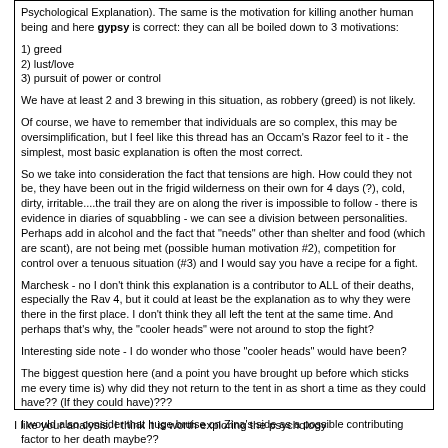Psychological Explanation). The same is the motivation for killing another human being and here gypsy is correct: they can all be boiled down to 3 motivations:
1) greed
2) lust/love
3) pursuit of power or control
We have at least 2 and 3 brewing in this situation, as robbery (greed) is not likely.
Of course, we have to remember that individuals are so complex, this may be oversimplification, but I feel like this thread has an Occam's Razor feel to it - the simplest, most basic explanation is often the most correct.
So we take into consideration the fact that tensions are high. How could they not be, they have been out in the frigid wilderness on their own for 4 days (?), cold, dirty, irritable....the trail they are on along the river is impossible to follow - there is evidence in diaries of squabbling - we can see a division between personalities. Perhaps add in alcohol and the fact that "needs" other than shelter and food (which are scant),  are not being met (possible human motivation #2), competition for control over a tenuous situation (#3) and I would say you have a recipe for a fight.
Marchesk - no I don't think this explanation is a contributor to ALL of their deaths, especially the Rav 4, but it could at least be the explanation as to why they were there in the first place. I don't think they all left the tent at the same time. And perhaps that's why, the "cooler heads" were not around to stop the fight?
Interesting side note - I do wonder who those "cooler heads" would have been?
The biggest question here (and a point you have brought up before which sticks me every time is) why did they not return to the tent in as short a time as they could have?? (If they could have)???
I would also consider that huge bruise on Zina's side as a possible contributing factor to her death maybe??
I like your analysis.  I think it is worth exploring the psychology